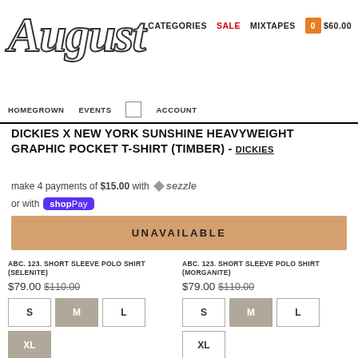August | CATEGORIES | SALE | MIXTAPES | HOMEGROWN | EVENTS | ACCOUNT | $60.00 | 0
DICKIES X NEW YORK SUNSHINE HEAVYWEIGHT GRAPHIC POCKET T-SHIRT (TIMBER) - DICKIES
make 4 payments of $15.00 with sezzle
or with shop Pay
UNAVAILABLE
ABC. 123. SHORT SLEEVE POLO SHIRT (SELENITE)
$79.00  $110.00
ABC. 123. SHORT SLEEVE POLO SHIRT (MORGANITE)
$79.00  $110.00